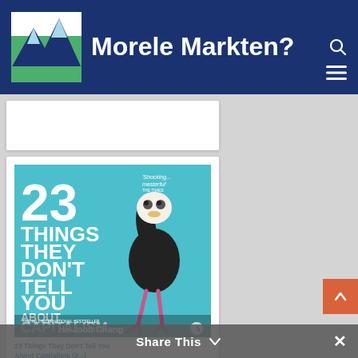Morele Markten?
[Figure (logo): Mountain logo with blue/green colors for Morele Markten website]
[Figure (photo): Book cover: '23 Things They Don't Tell You About Capitalism' by Ha-Joon Chang, Penguin Books, teal background with illustrated ostrich, tagline 'Shocking... masterful']
23 Things They Don't Tell You About Capitalism (2...)
Share This